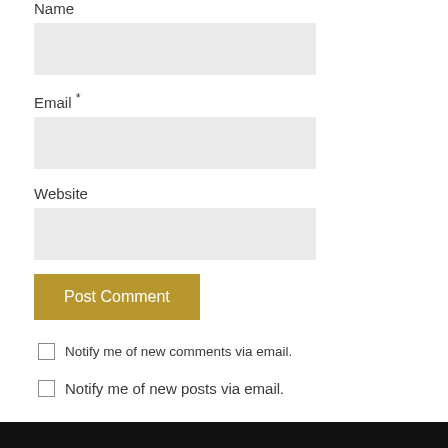Name
Email *
Website
Post Comment
Notify me of new comments via email.
Notify me of new posts via email.
CATEGORIES
Tastes
Today